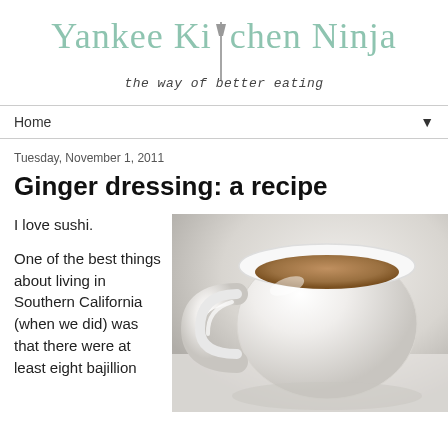Yankee Kitchen Ninja — the way of better eating
Home ▼
Tuesday, November 1, 2011
Ginger dressing: a recipe
I love sushi.
One of the best things about living in Southern California (when we did) was that there were at least eight bajillion
[Figure (photo): Close-up photo of a white ceramic mug containing a brown liquid (likely ginger dressing or tea), photographed from above at an angle on a white surface.]